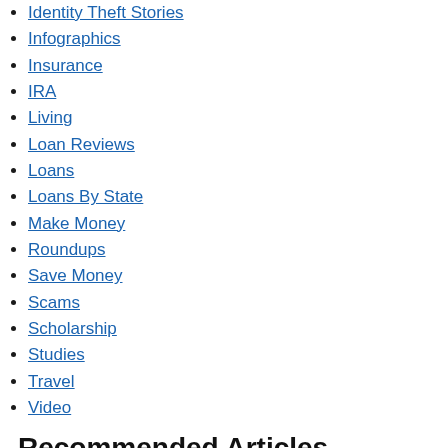Identity Theft Stories
Infographics
Insurance
IRA
Living
Loan Reviews
Loans
Loans By State
Make Money
Roundups
Save Money
Scams
Scholarship
Studies
Travel
Video
Recommended Articles
[Figure (photo): Article thumbnail image placeholder]